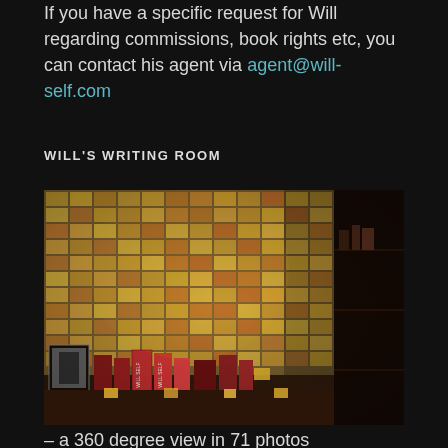If you have a specific request for Will regarding commissions, book rights etc, you can contact his agent via agent@will-self.com
WILL'S WRITING ROOM
[Figure (photo): A wall covered in hundreds of yellow and orange post-it notes in Will's writing room, with books and items on a desk in the foreground, and a dark shelving unit to the right.]
– a 360 degree view in 71 photos